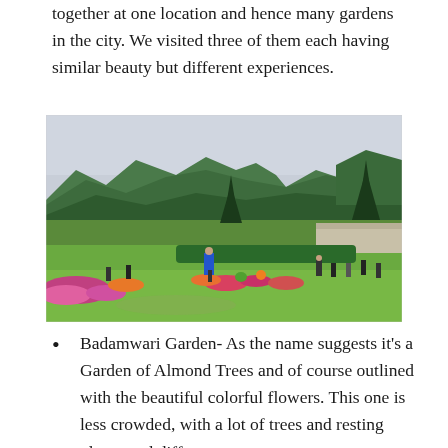together at one location and hence many gardens in the city. We visited three of them each having similar beauty but different experiences.
[Figure (photo): A scenic garden with green lawns, colorful flower beds, tall pine trees, and mountains in the background under a cloudy sky. Several visitors are walking and standing in the garden.]
Badamwari Garden- As the name suggests it's a Garden of Almond Trees and of course outlined with the beautiful colorful flowers. This one is less crowded, with a lot of trees and resting places and different